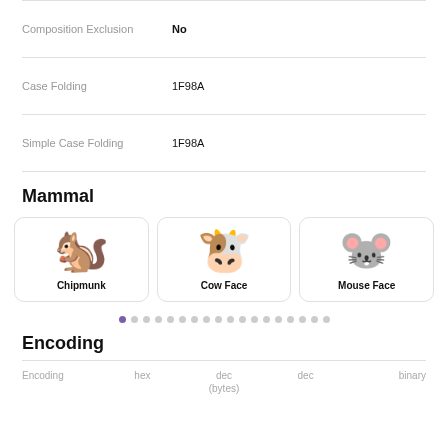| Property | Value |
| --- | --- |
| Composition Exclusion | No |
| Case Folding | 1F98A |
| Simple Case Folding | 1F98A |
Mammal
[Figure (illustration): Three emoji cards in a row: Chipmunk, Cow Face, Mouse Face with emoji images and bold labels]
[Figure (other): Pagination dots row, first dot active/purple, followed by 17 grey dots]
Encoding
| Encoding | hex | dec (bytes) | dec | binary |
| --- | --- | --- | --- | --- |